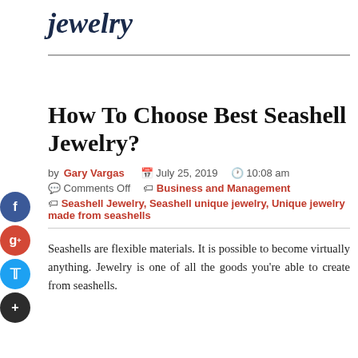jewelry
How To Choose Best Seashell Jewelry?
by Gary Vargas   July 25, 2019   10:08 am   Comments Off   Business and Management   Seashell Jewelry, Seashell unique jewelry, Unique jewelry made from seashells
Seashells are flexible materials. It is possible to become virtually anything. Jewelry is one of all the goods you're able to create from seashells.